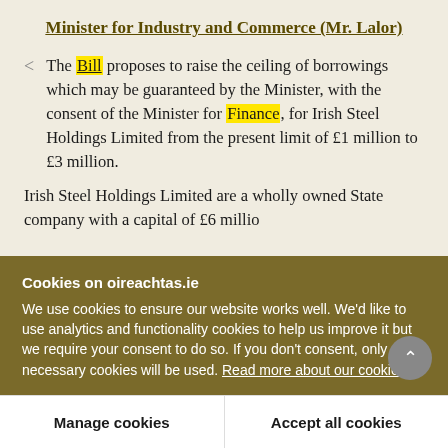Minister for Industry and Commerce (Mr. Lalor)
The Bill proposes to raise the ceiling of borrowings which may be guaranteed by the Minister, with the consent of the Minister for Finance, for Irish Steel Holdings Limited from the present limit of £1 million to £3 million.
Irish Steel Holdings Limited are a wholly owned State company with a capital of £6 million...
Cookies on oireachtas.ie
We use cookies to ensure our website works well. We'd like to use analytics and functionality cookies to help us improve it but we require your consent to do so. If you don't consent, only necessary cookies will be used. Read more about our cookies
Manage cookies
Accept all cookies